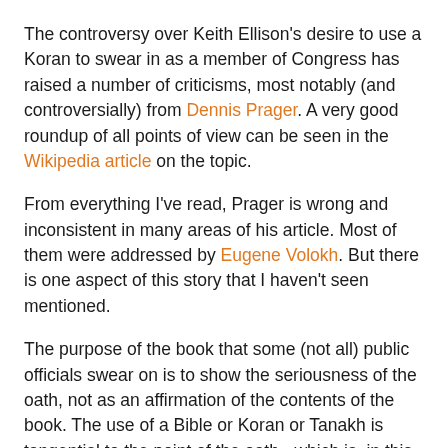The controversy over Keith Ellison's desire to use a Koran to swear in as a member of Congress has raised a number of criticisms, most notably (and controversially) from Dennis Prager. A very good roundup of all points of view can be seen in the Wikipedia article on the topic.
From everything I've read, Prager is wrong and inconsistent in many areas of his article. Most of them were addressed by Eugene Volokh. But there is one aspect of this story that I haven't seen mentioned.
The purpose of the book that some (not all) public officials swear on is to show the seriousness of the oath, not as an affirmation of the contents of the book. The use of a Bible or Koran or Tanakh is tangential to the point of the oath - which is, in this case, to uphold the Constitution of the United States. Here is the text with the words in italics not being necessary:
I do solemnly swear (affirm) that I will support and defend the Constitution of the United States